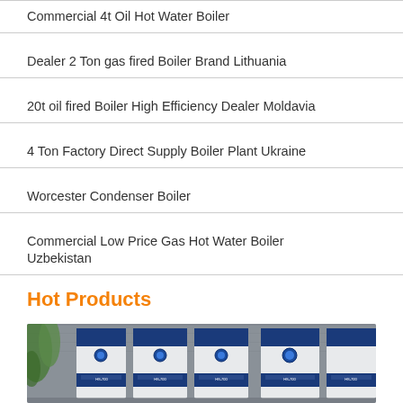Commercial 4t Oil Hot Water Boiler
Dealer 2 Ton gas fired Boiler Brand Lithuania
20t oil fired Boiler High Efficiency Dealer Moldavia
4 Ton Factory Direct Supply Boiler Plant Ukraine
Worcester Condenser Boiler
Commercial Low Price Gas Hot Water Boiler Uzbekistan
Hot Products
[Figure (photo): Row of industrial boiler units (HS-700 model) in blue and white/grey casing, lined up outdoors against a grey wall with some green foliage visible on the left.]